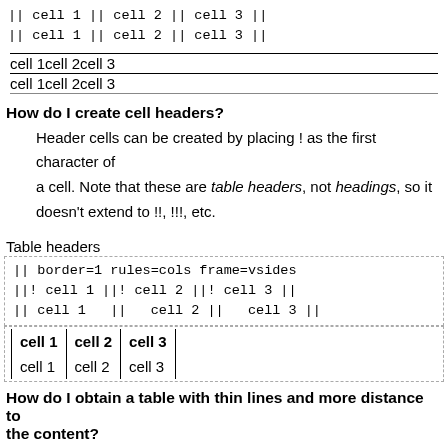|| cell 1 || cell 2 || cell 3 ||
|| cell 1 || cell 2 || cell 3 ||
| cell 1 | cell 2 | cell 3 |
| cell 1 | cell 2 | cell 3 |
How do I create cell headers?
Header cells can be created by placing ! as the first character of a cell. Note that these are table headers, not headings, so it doesn't extend to !!, !!!, etc.
Table headers
|| border=1 rules=cols frame=vsides
||! cell 1 ||! cell 2 ||! cell 3 ||
|| cell 1  ||  cell 2 ||  cell 3 ||
| cell 1 | cell 2 | cell 3 |
| --- | --- | --- |
| cell 1 | cell 2 | cell 3 |
How do I obtain a table with thin lines and more distance to the content?
"Thin lines" is tricky and browser dependent, but the following